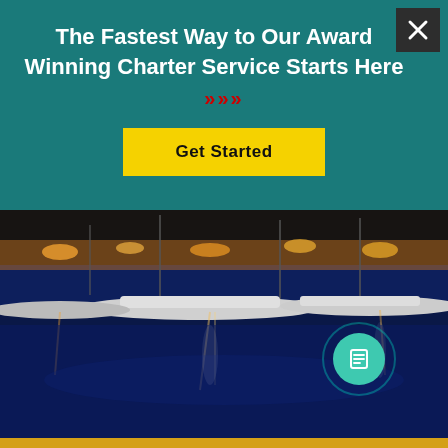The Fastest Way to Our Award Winning Charter Service Starts Here
>>>
[Figure (screenshot): Yellow 'Get Started' button on teal background]
[Figure (photo): Nighttime marina with boats docked, lights reflecting on dark blue water]
[Figure (other): Teal circle icon with document/list symbol]